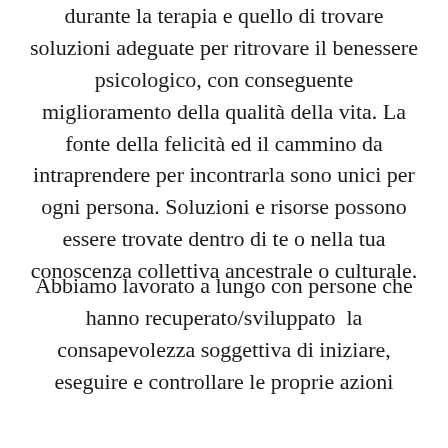durante la terapia e quello di trovare soluzioni adeguate per ritrovare il benessere psicologico, con conseguente miglioramento della qualità della vita. La fonte della felicità ed il cammino da intraprendere per incontrarla sono unici per ogni persona. Soluzioni e risorse possono essere trovate dentro di te o nella tua conoscenza collettiva ancestrale o culturale.
Abbiamo lavorato a lungo con persone che hanno recuperato/sviluppato la consapevolezza soggettiva di iniziare, eseguire e controllare le proprie azioni di iniziare e le proprie azioni